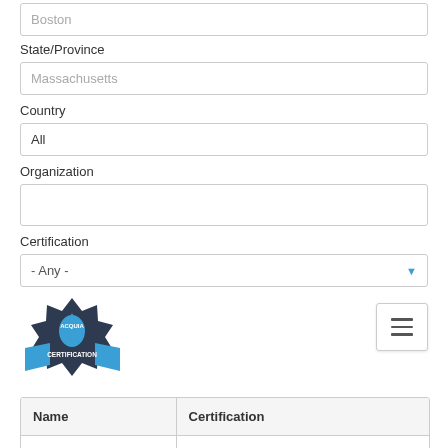Boston
State/Province
Massachusetts
Country
All
Organization
Certification
- Any -
[Figure (logo): Acquia Certification badge logo with blue water drop and dark star shape]
| Name | Certification |
| --- | --- |
| René Opitz | Acquia Certified Front End Specialist - Drup |